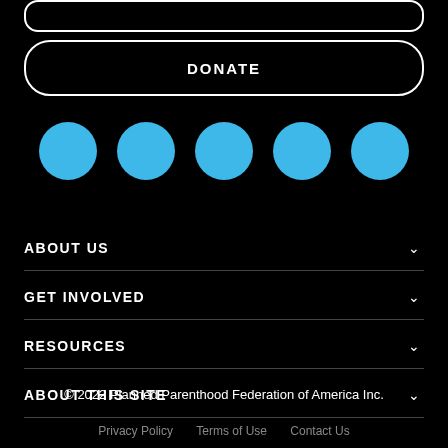[Figure (other): Rounded rectangle button outline at top (partial, cropped)]
[Figure (other): DONATE button with rounded rectangle border outline]
[Figure (other): Five blue circular social media icon placeholders in a row]
ABOUT US
GET INVOLVED
RESOURCES
ABOUT THIS SITE
© 2022 Planned Parenthood Federation of America Inc.
Privacy Policy   Terms of Use   Contact Us